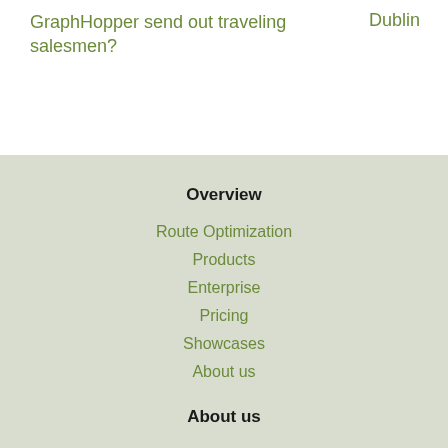GraphHopper send out traveling salesmen?
Dublin
Overview
Route Optimization
Products
Enterprise
Pricing
Showcases
About us
About us